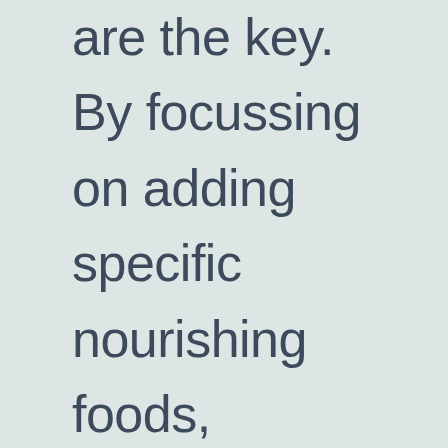are the key. By focussing on adding specific nourishing foods, thoughts, behaviours and supportive communities, we can leapfrog past our old